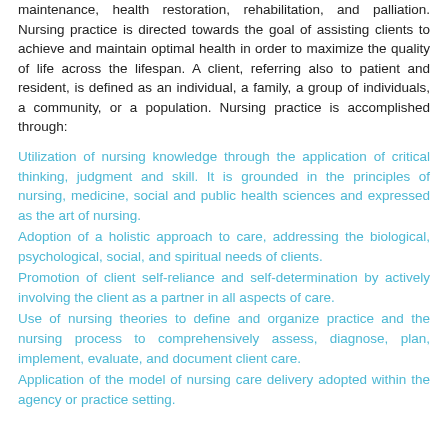maintenance, health restoration, rehabilitation, and palliation. Nursing practice is directed towards the goal of assisting clients to achieve and maintain optimal health in order to maximize the quality of life across the lifespan. A client, referring also to patient and resident, is defined as an individual, a family, a group of individuals, a community, or a population. Nursing practice is accomplished through:
Utilization of nursing knowledge through the application of critical thinking, judgment and skill. It is grounded in the principles of nursing, medicine, social and public health sciences and expressed as the art of nursing.
Adoption of a holistic approach to care, addressing the biological, psychological, social, and spiritual needs of clients.
Promotion of client self-reliance and self-determination by actively involving the client as a partner in all aspects of care.
Use of nursing theories to define and organize practice and the nursing process to comprehensively assess, diagnose, plan, implement, evaluate, and document client care.
Application of the model of nursing care delivery adopted within the agency or practice setting.